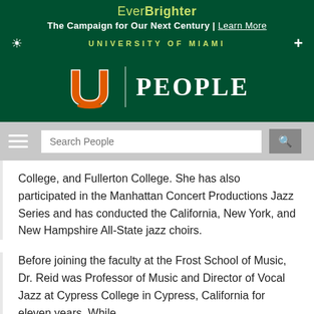EverBrighter The Campaign for Our Next Century | Learn More
UNIVERSITY OF MIAMI
PEOPLE
College, and Fullerton College. She has also participated in the Manhattan Concert Productions Jazz Series and has conducted the California, New York, and New Hampshire All-State jazz choirs.
Before joining the faculty at the Frost School of Music, Dr. Reid was Professor of Music and Director of Vocal Jazz at Cypress College in Cypress, California for eleven years. While